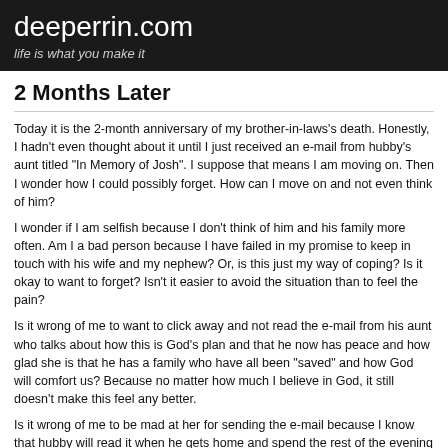deeperrin.com
life is what you make it
2 Months Later
Today it is the 2-month anniversary of my brother-in-laws's death.  Honestly, I hadn't even thought about it until I just received an e-mail from hubby's aunt titled "In Memory of Josh".  I suppose that means I am moving on.  Then I wonder how I could possibly forget.  How can I move on and not even think of him?
I wonder if I am selfish because I don't think of him and his family more often.  Am I a bad person because I have failed in my promise to keep in touch with his wife and my nephew?  Or, is this just my way of coping?  Is it okay to want to forget?  Isn't it easier to avoid the situation than to feel the pain?
Is it wrong of me to want to click away and not read the e-mail from his aunt who talks about how this is God's plan and that he now has peace and how glad she is that he has a family who have all been "saved" and how God will comfort us?  Because no matter how much I believe in God, it still doesn't make this feel any better.
Is it wrong of me to be mad at her for sending the e-mail because I know that hubby will read it when he gets home and spend the rest of the evening and possibly the upcoming weekend being severly depressed, angry, and missing his brother?  Is it selfish of me to not want him to have to feel that sadness and pain?